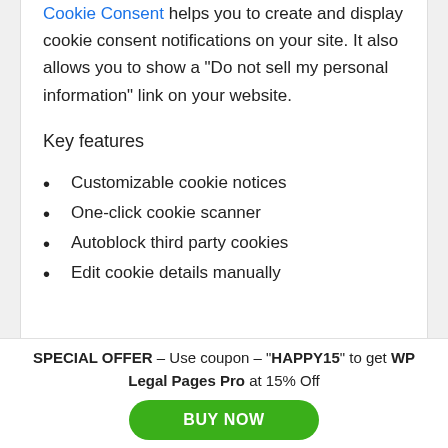Cookie Consent helps you to create and display cookie consent notifications on your site. It also allows you to show a “Do not sell my personal information” link on your website.
Key features
Customizable cookie notices
One-click cookie scanner
Autoblock third party cookies
Edit cookie details manually
SPECIAL OFFER – Use coupon – “HAPPY15” to get WP Legal Pages Pro at 15% Off
BUY NOW